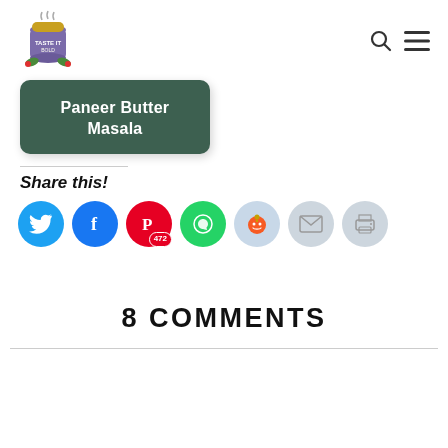Taste it Bold - blog header with logo, search icon, and menu icon
[Figure (illustration): Paneer Butter Masala recipe card preview image with dark green background and white bold text]
Share this!
[Figure (infographic): Social share buttons: Twitter (blue), Facebook (blue), Pinterest (red, 472 saves), WhatsApp (green), Reddit (light blue), Email (grey), Print (grey)]
8 COMMENTS